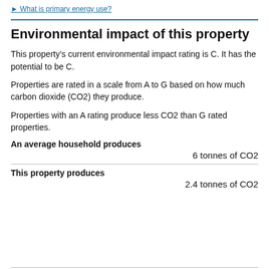What is primary energy use?
Environmental impact of this property
This property’s current environmental impact rating is C. It has the potential to be C.
Properties are rated in a scale from A to G based on how much carbon dioxide (CO2) they produce.
Properties with an A rating produce less CO2 than G rated properties.
An average household produces
6 tonnes of CO2
This property produces
2.4 tonnes of CO2